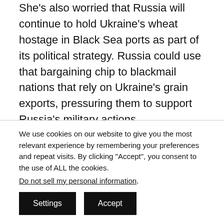She's also worried that Russia will continue to hold Ukraine's wheat hostage in Black Sea ports as part of its political strategy. Russia could use that bargaining chip to blackmail nations that rely on Ukraine's grain exports, pressuring them to support Russia's military actions.
“That is a global problem,” Broyaka said, “and if the world will not help Ukraine to stop Russia, it will
We use cookies on our website to give you the most relevant experience by remembering your preferences and repeat visits. By clicking “Accept”, you consent to the use of ALL the cookies.
Do not sell my personal information.